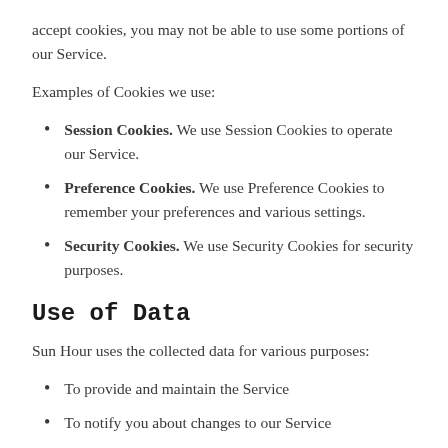accept cookies, you may not be able to use some portions of our Service.
Examples of Cookies we use:
Session Cookies. We use Session Cookies to operate our Service.
Preference Cookies. We use Preference Cookies to remember your preferences and various settings.
Security Cookies. We use Security Cookies for security purposes.
Use of Data
Sun Hour uses the collected data for various purposes:
To provide and maintain the Service
To notify you about changes to our Service